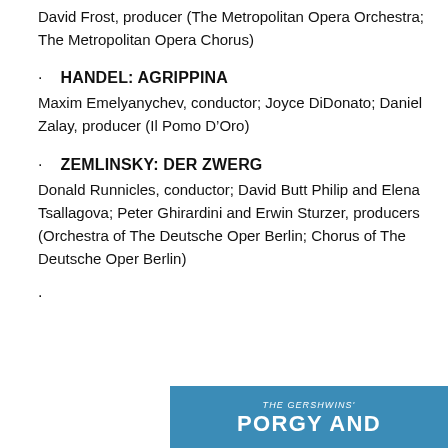David Frost, producer (The Metropolitan Opera Orchestra; The Metropolitan Opera Chorus)
HANDEL: AGRIPPINA
Maxim Emelyanychev, conductor; Joyce DiDonato; Daniel Zalay, producer (Il Pomo D’Oro)
ZEMLINSKY: DER ZWERG
Donald Runnicles, conductor; David Butt Philip and Elena Tsallagova; Peter Ghirardini and Erwin Sturzer, producers (Orchestra of The Deutsche Oper Berlin; Chorus of The Deutsche Oper Berlin)
·
[Figure (illustration): Blue banner image with text 'THE GERSHWINS' and 'PORGY AND' in large white letters on a teal/blue background]